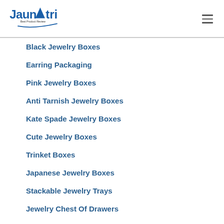[Figure (logo): Jaunatri Best Product Review logo with blue text and blue arrow/star design]
Black Jewelry Boxes
Earring Packaging
Pink Jewelry Boxes
Anti Tarnish Jewelry Boxes
Kate Spade Jewelry Boxes
Cute Jewelry Boxes
Trinket Boxes
Japanese Jewelry Boxes
Stackable Jewelry Trays
Jewelry Chest Of Drawers